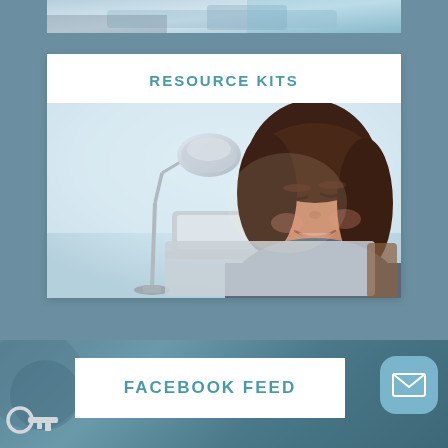[Figure (photo): Partial top view of a person using a laptop, cropped at the top of the page]
RESOURCE KITS
[Figure (photo): Smiling young woman with curly brown hair looking down at a laptop, with a silver desk lamp visible on the left side]
FACEBOOK FEED